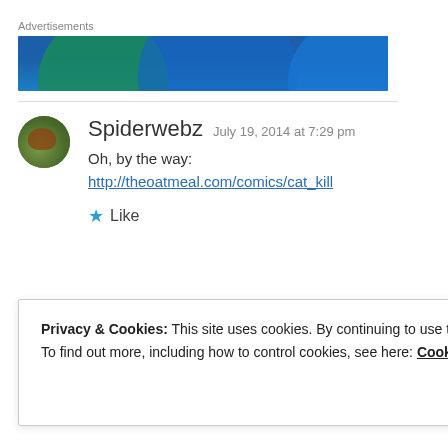Advertisements
[Figure (illustration): Blue advertisement banner with overlapping colored circles on a dark blue background]
Spiderwebz  July 19, 2014 at 7:29 pm
Oh, by the way:
http://theoatmeal.com/comics/cat_kill
Like
Privacy & Cookies: This site uses cookies. By continuing to use this website, you agree to their use.
To find out more, including how to control cookies, see here: Cookie Policy
Close and accept